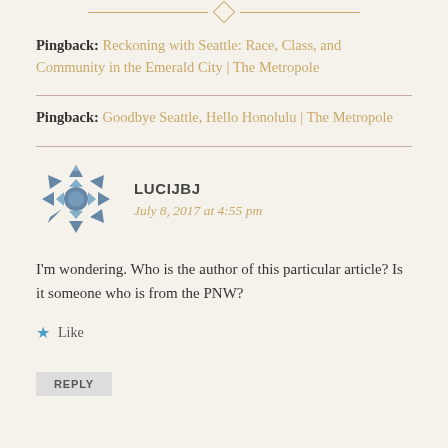[Figure (illustration): Decorative horizontal divider with two horizontal lines and a diamond shape in the center, in gold/tan color]
Pingback: Reckoning with Seattle: Race, Class, and Community in the Emerald City | The Metropole
Pingback: Goodbye Seattle, Hello Honolulu | The Metropole
LUCIJBJ
July 8, 2017 at 4:55 pm
I'm wondering. Who is the author of this particular article? Is it someone who is from the PNW?
Like
REPLY